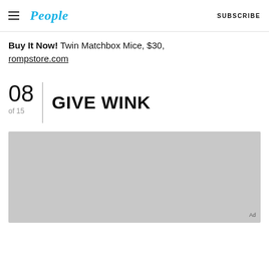People — SUBSCRIBE
Buy It Now! Twin Matchbox Mice, $30, rompstore.com
08 of 15 | GIVE WINK
[Figure (photo): Grey placeholder image representing a product or editorial photo, with 'Ad' label in bottom right.]